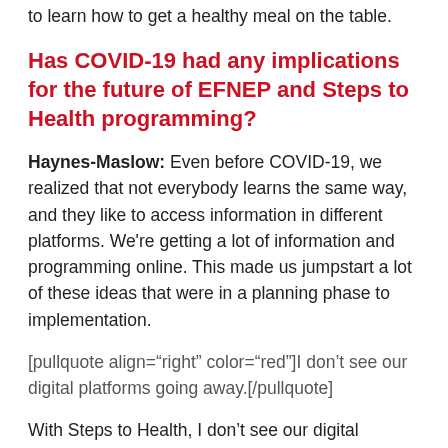to learn how to get a healthy meal on the table.
Has COVID-19 had any implications for the future of EFNEP and Steps to Health programming?
Haynes-Maslow: Even before COVID-19, we realized that not everybody learns the same way, and they like to access information in different platforms. We're getting a lot of information and programming online. This made us jumpstart a lot of these ideas that were in a planning phase to implementation.
[pullquote align="right" color="red"]I don't see our digital platforms going away.[/pullquote]
With Steps to Health, I don't see our digital strategy